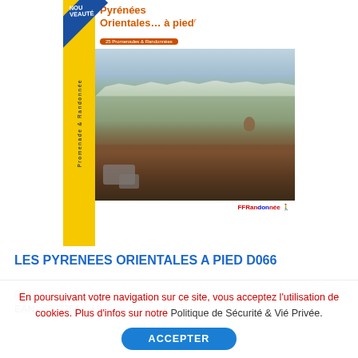[Figure (photo): Book cover of 'Les Pyrénées Orientales... à pied' guidebook with yellow spine, FFRandonnée logo, and mountain landscape photo showing hillside terrain with mountains in background]
LES PYRENEES ORIENTALES A PIED D066
FFRANDONNEE
EAN : 9782751411915
En poursuivant votre navigation sur ce site, vous acceptez l'utilisation de cookies. Plus d'infos sur notre Politique de Sécurité & Vié Privée.
ACCEPTER